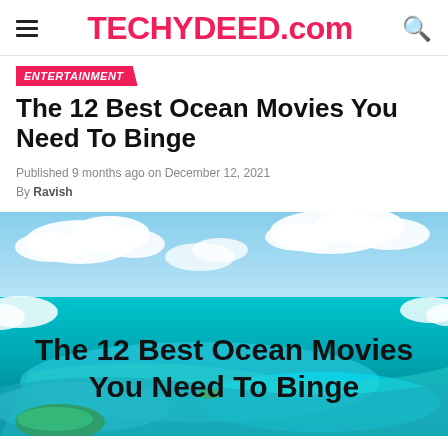TECHYDEED.com
ENTERTAINMENT
The 12 Best Ocean Movies You Need To Binge
Published 9 months ago on December 12, 2021
By Ravish
[Figure (photo): Aerial photograph of a turquoise ocean with tropical islands, white clouds, and blue sky. Overlaid text reads: The 12 Best Ocean Movies You Need To Binge]